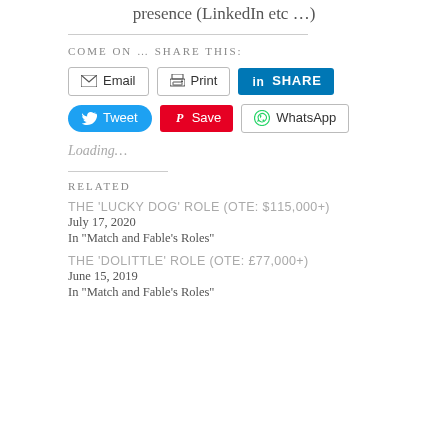presence (LinkedIn etc …)
COME ON … SHARE THIS:
[Figure (screenshot): Share buttons row 1: Email, Print, LinkedIn SHARE]
[Figure (screenshot): Share buttons row 2: Tweet, Save (Pinterest), WhatsApp]
Loading…
RELATED
THE 'LUCKY DOG' ROLE (OTE: $115,000+)
July 17, 2020
In "Match and Fable's Roles"
THE 'DOLITTLE' ROLE (OTE: £77,000+)
June 15, 2019
In "Match and Fable's Roles"